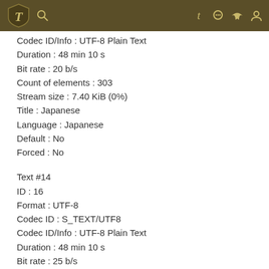Header navigation bar with logo, search, and icons
Codec ID/Info : UTF-8 Plain Text
Duration : 48 min 10 s
Bit rate : 20 b/s
Count of elements : 303
Stream size : 7.40 KiB (0%)
Title : Japanese
Language : Japanese
Default : No
Forced : No
Text #14
ID : 16
Format : UTF-8
Codec ID : S_TEXT/UTF8
Codec ID/Info : UTF-8 Plain Text
Duration : 48 min 10 s
Bit rate : 25 b/s
Count of elements : 312
Stream size : 8.86 KiB (0%)
Title : Korean
Language : Korean
Default : No
Forced : No